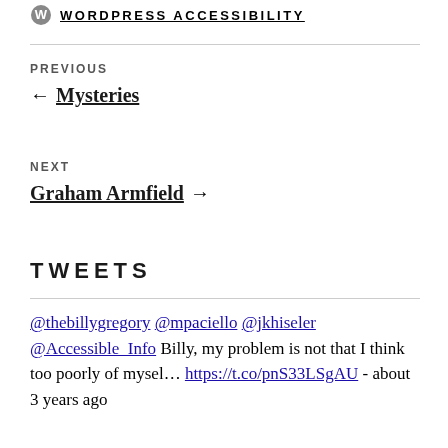WORDPRESS ACCESSIBILITY
PREVIOUS
← Mysteries
NEXT
Graham Armfield →
TWEETS
@thebillygregory @mpaciello @jkhiseler @Accessible_Info Billy, my problem is not that I think too poorly of mysel… https://t.co/pnS33LSgAU - about 3 years ago